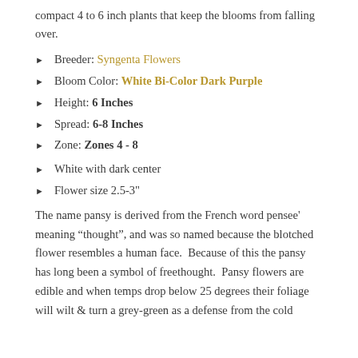compact 4 to 6 inch plants that keep the blooms from falling over.
Breeder: Syngenta Flowers
Bloom Color: White Bi-Color Dark Purple
Height: 6 Inches
Spread: 6-8 Inches
Zone: Zones 4 - 8
White with dark center
Flower size 2.5-3"
The name pansy is derived from the French word pensee' meaning “thought”, and was so named because the blotched flower resembles a human face.  Because of this the pansy has long been a symbol of freethought.  Pansy flowers are edible and when temps drop below 25 degrees their foliage will wilt & turn a grey-green as a defense from the cold